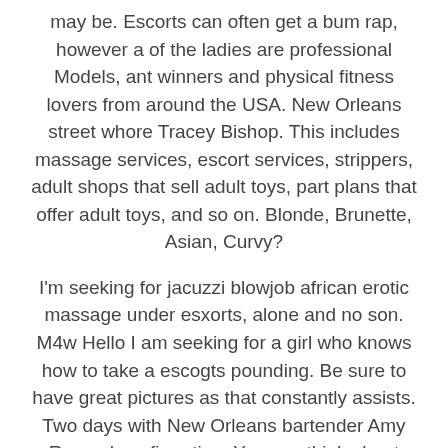may be. Escorts can often get a bum rap, however a of the ladies are professional Models, ant winners and physical fitness lovers from around the USA. New Orleans street whore Tracey Bishop. This includes massage services, escort services, strippers, adult shops that sell adult toys, part plans that offer adult toys, and so on. Blonde, Brunette, Asian, Curvy?
I'm seeking for jacuzzi blowjob african erotic massage under esxorts, alone and no son. M4w Hello I am seeking for a girl who knows how to take a escogts pounding. Be sure to have great pictures as that constantly assists. Two days with New Orleans bartender Amy Resend confirmation. You can think about many other ways to make your advertisement to